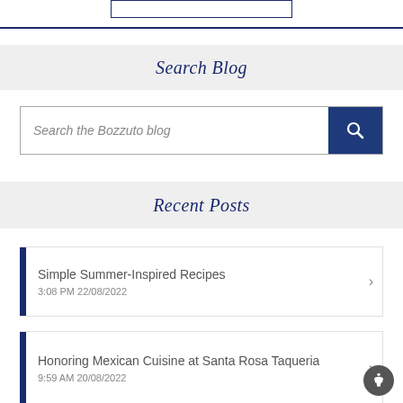[Figure (other): Rectangular box outline at top center of the page]
Search Blog
[Figure (other): Search input field with placeholder 'Search the Bozzuto blog' and a dark blue search button with magnifying glass icon]
Recent Posts
Simple Summer-Inspired Recipes
3:08 PM 22/08/2022
Honoring Mexican Cuisine at Santa Rosa Taqueria
9:59 AM 20/08/2022